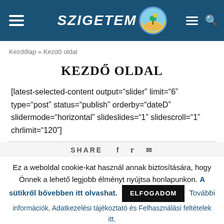SZIGETEM
Kezdőlap » Kezdő oldal
KEZDŐ OLDAL
[latest-selected-content output="slider" limit="6" type="post" status="publish" orderby="dateD" slidermode="horizontal" slideslides="1" slidescroll="1" chrlimit="120"]
SHARE
Ez a weboldal cookie-kat használ annak biztosítására, hogy Önnek a lehető legjobb élményt nyújtsa honlapunkon. A sütikről bővebben itt olvashat. ELFOGADOM További információk, Adatkezelési tájékoztató és Felhasználási feltételek itt.